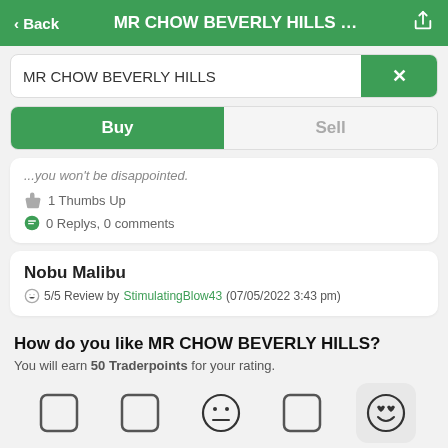< Back  MR CHOW BEVERLY HILLS ...
MR CHOW BEVERLY HILLS
Buy  Sell
...you won't be disappointed.
1 Thumbs Up
0 Replys, 0 comments
Nobu Malibu
5/5 Review by StimulatingBlow43 (07/05/2022 3:43 pm)
How do you like MR CHOW BEVERLY HILLS?
You will earn 50 Traderpoints for your rating.